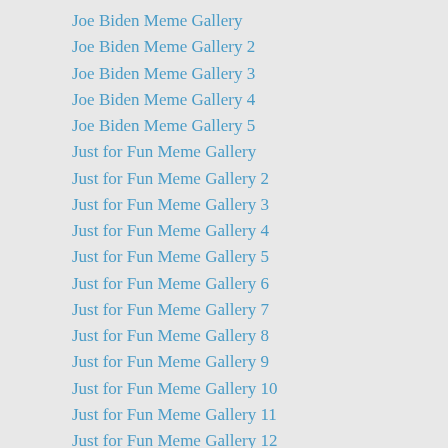Joe Biden Meme Gallery
Joe Biden Meme Gallery 2
Joe Biden Meme Gallery 3
Joe Biden Meme Gallery 4
Joe Biden Meme Gallery 5
Just for Fun Meme Gallery
Just for Fun Meme Gallery 2
Just for Fun Meme Gallery 3
Just for Fun Meme Gallery 4
Just for Fun Meme Gallery 5
Just for Fun Meme Gallery 6
Just for Fun Meme Gallery 7
Just for Fun Meme Gallery 8
Just for Fun Meme Gallery 9
Just for Fun Meme Gallery 10
Just for Fun Meme Gallery 11
Just for Fun Meme Gallery 12
Justin Trudeau Meme Gallery
Kamala Harris Meme Gallery
Kermit the Frog Meme Gallery